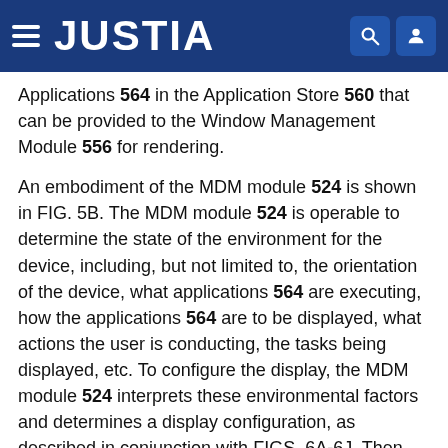JUSTIA
Applications 564 in the Application Store 560 that can be provided to the Window Management Module 556 for rendering.
An embodiment of the MDM module 524 is shown in FIG. 5B. The MDM module 524 is operable to determine the state of the environment for the device, including, but not limited to, the orientation of the device, what applications 564 are executing, how the applications 564 are to be displayed, what actions the user is conducting, the tasks being displayed, etc. To configure the display, the MDM module 524 interprets these environmental factors and determines a display configuration, as described in conjunction with FIGS. 6A-6J. Then, the MDM module 524 can bind the applications 564 or other device components to the displays. The configuration may then be sent to the Display Controller 544 and/or